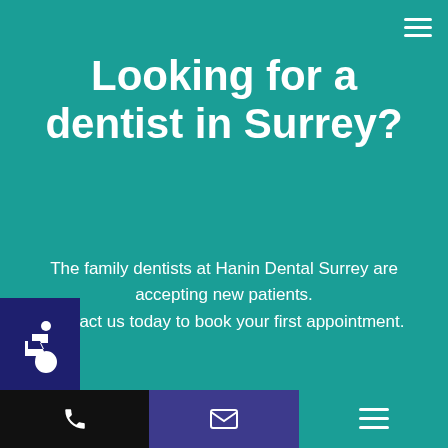Looking for a dentist in Surrey?
The family dentists at Hanin Dental Surrey are accepting new patients. Contact us today to book your first appointment.
CONTACT US
[Figure (illustration): Wheelchair accessibility icon in white on dark navy blue square background]
Phone icon | Email icon | Menu icon